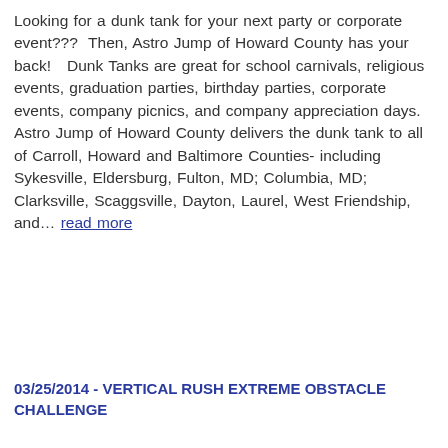Looking for a dunk tank for your next party or corporate event???  Then, Astro Jump of Howard County has your back!   Dunk Tanks are great for school carnivals, religious events, graduation parties, birthday parties, corporate events, company picnics, and company appreciation days.   Astro Jump of Howard County delivers the dunk tank to all of Carroll, Howard and Baltimore Counties- including Sykesville, Eldersburg, Fulton, MD; Columbia, MD; Clarksville, Scaggsville, Dayton, Laurel, West Friendship, and… read more
03/25/2014 - VERTICAL RUSH EXTREME OBSTACLE CHALLENGE